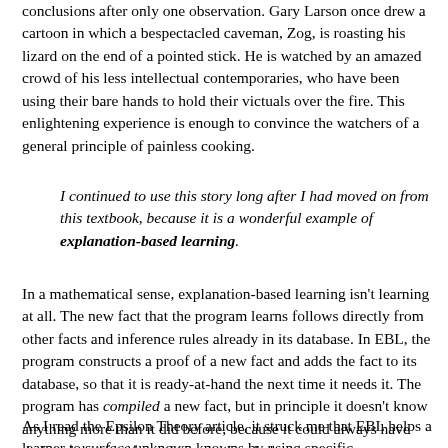conclusions after only one observation. Gary Larson once drew a cartoon in which a bespectacled caveman, Zog, is roasting his lizard on the end of a pointed stick. He is watched by an amazed crowd of his less intellectual contemporaries, who have been using their bare hands to hold their victuals over the fire. This enlightening experience is enough to convince the watchers of a general principle of painless cooking.
I continued to use this story long after I had moved on from this textbook, because it is a wonderful example of explanation-based learning.
In a mathematical sense, explanation-based learning isn't learning at all. The new fact that the program learns follows directly from other facts and inference rules already in its database. In EBL, the program constructs a proof of a new fact and adds the fact to its database, so that it is ready-at-hand the next time it needs it. The program has compiled a new fact, but in principle it doesn't know anything more than it did before, because it could always have deduced that fact from things it already knows.
As I read the Epsilon Theory article, it struck me that EBL helps a learner to surface unknown knowns by using specific